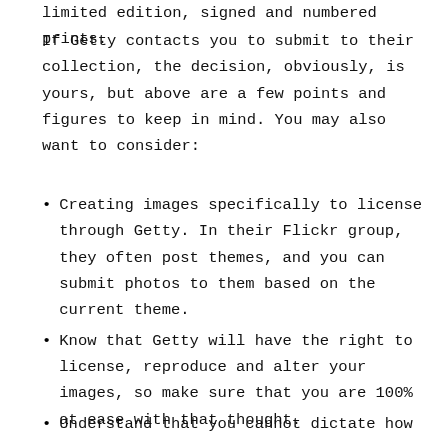limited edition, signed and numbered prints.
If Getty contacts you to submit to their collection, the decision, obviously, is yours, but above are a few points and figures to keep in mind. You may also want to consider:
Creating images specifically to license through Getty. In their Flickr group, they often post themes, and you can submit photos to them based on the current theme.
Know that Getty will have the right to license, reproduce and alter your images, so make sure that you are 100% at ease with that thought.
Understand that you cannot dictate how